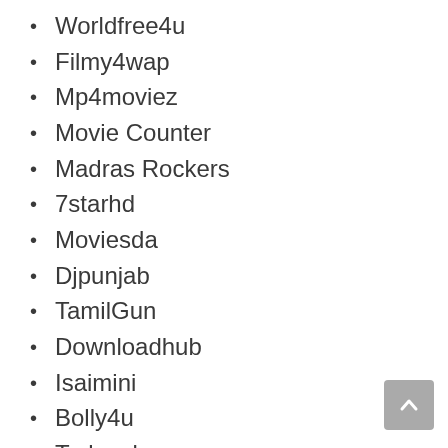Worldfree4u
Filmy4wap
Mp4moviez
Movie Counter
Madras Rockers
7starhd
Moviesda
Djpunjab
TamilGun
Downloadhub
Isaimini
Bolly4u
Todaypk
Filmywap
9xmovies